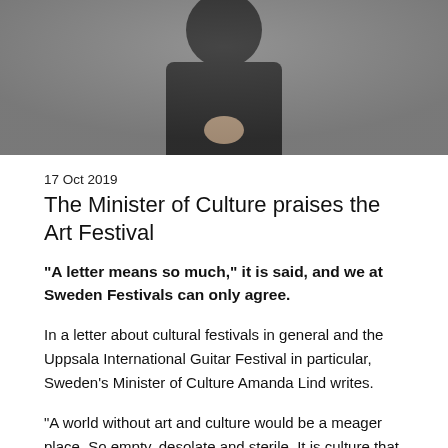[Figure (photo): A person dressed in black against a grey background, hands clasped, partially cropped.]
17 Oct 2019
The Minister of Culture praises the Art Festival
"A letter means so much," it is said, and we at Sweden Festivals can only agree.
In a letter about cultural festivals in general and the Uppsala International Guitar Festival in particular, Sweden's Minister of Culture Amanda Lind writes.
"A world without art and culture would be a meager place. So empty, desolate and sterile. It is culture that creates the vitality and dynamic that characterizes our human coexistence. Let me put it bluntly: it is culture that makes us human!
And what is a better form of culture than our festivals?